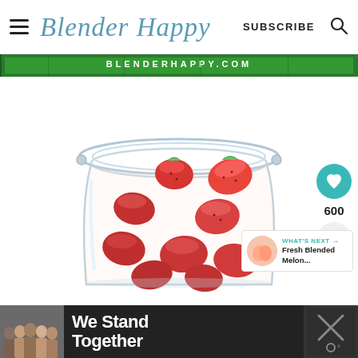Blender Happy  SUBSCRIBE
[Figure (photo): Advertisement banner - green background with text/logo]
[Figure (photo): A clear glass jar with a hinged lid filled with fresh cut strawberries, photographed on white background]
600
WHAT'S NEXT → Fresh Blended Melon...
[Figure (photo): Advertisement banner at bottom - dark background with people and text 'We Stand Together']